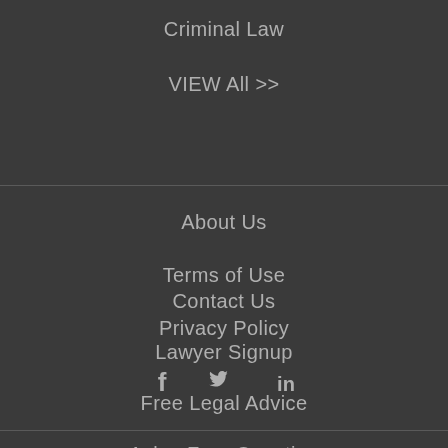Criminal Law
VIEW All >>
About Us
Terms of Use
Privacy Policy
[Figure (other): Social media icons: Facebook (f), Twitter (bird), LinkedIn (in)]
Contact Us
Lawyer Signup
Free Legal Advice
Ask a Free Question